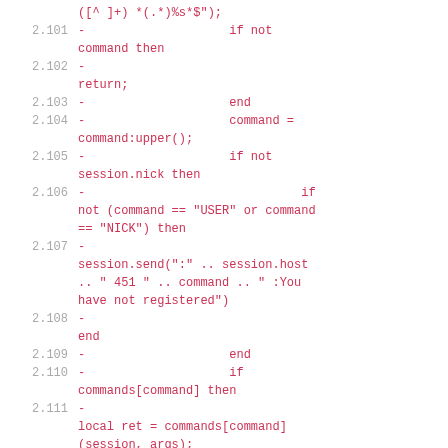([^ ]+) *(.*)%s*$");
2.101  -                    if not command then
2.102  -
 return;
2.103  -                    end
2.104  -                    command = command:upper();
2.105  -                    if not session.nick then
2.106  -                              if not (command == "USER" or command == "NICK") then
2.107  -
 session.send(":" .. session.host .. " 451 " .. command .. " :You have not registered")
2.108  -
 end
2.109  -                    end
2.110  -                    if commands[command] then
2.111  -
 local ret = commands[command](session, args);
2.112  -                              if ret then
2.113  -
 session.send(ret.."\r\n");
2.114  -